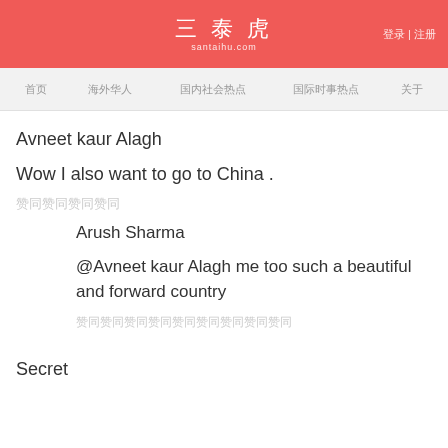三泰虎 santaihu.com | 登录 | 注册
首页 海外华人 国内社会热点 国际时事热点 关于
Avneet kaur Alagh
Wow I also want to go to China .
赞同赞同赞同赞同
Arush Sharma
@Avneet kaur Alagh me too such a beautiful and forward country
赞同赞同赞同赞同赞同赞同赞同赞同赞同
Secret